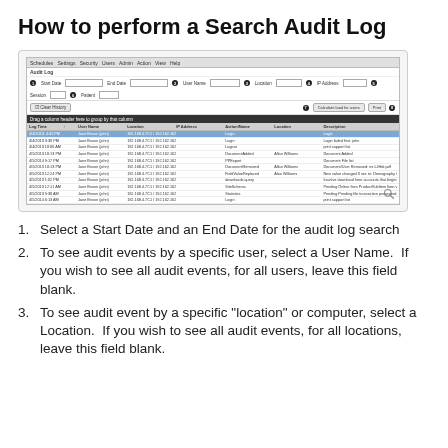How to perform a Search Audit Log
[Figure (screenshot): Screenshot of a Search Audit Log interface showing filter fields (Start Date, End Date, User Name, Location, IP Address, Session, Patient) with numbered badges 1-8, a Clear History button, a table of audit log results with columns (Log Time, User Name, Location, IP Address, Action/Name, Location, Description), and several rows of sample data with one row highlighted in blue.]
Select a Start Date and an End Date for the audit log search
To see audit events by a specific user, select a User Name.  If you wish to see all audit events, for all users, leave this field blank.
To see audit event by a specific "location" or computer, select a Location.  If you wish to see all audit events, for all locations, leave this field blank.